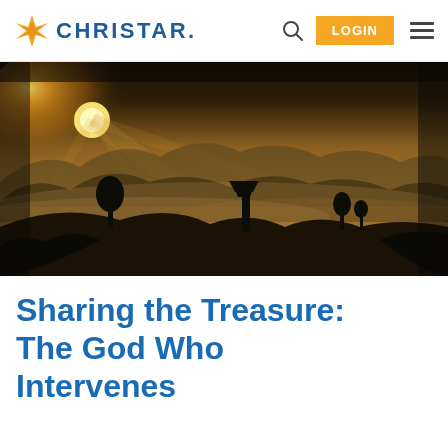CHRISTAR
[Figure (photo): Landscape panoramic photo of misty mountains at sunset/sunrise with golden light rays, silhouettes of trees and a pagoda-style structure in the middle ground, dramatic sky with clouds]
Sharing the Treasure: The God Who Intervenes